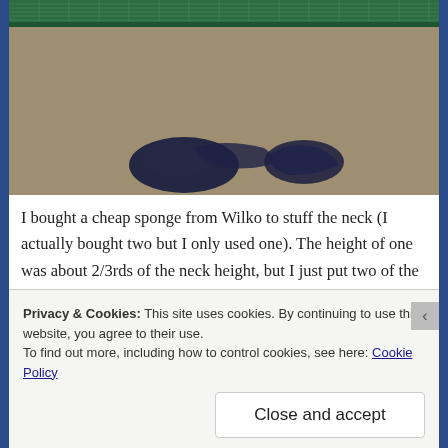[Figure (photo): A photo showing dark fabric/cloth pieces on a beige/tan carpet surface, with a green cutting mat visible at the top edge.]
I bought a cheap sponge from Wilko to stuff the neck (I actually bought two but I only used one). The height of one was about 2/3rds of the neck height, but I just put two of the cylinders that I cut on top of each other and stuffed it in. It's a sponge, so it squished in fine! I think it only cost
Privacy & Cookies: This site uses cookies. By continuing to use this website, you agree to their use.
To find out more, including how to control cookies, see here: Cookie Policy
Close and accept